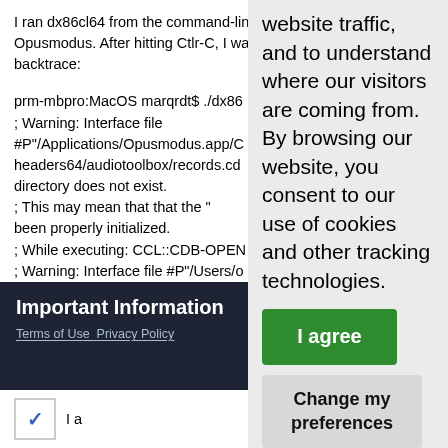I ran dx86cl64 from the command-line with Opusmodus. After hitting Ctlr-C, I was given this backtrace:

prm-mbpro:MacOS marqrdt$ ./dx86c
; Warning: Interface file #P"/Applications/Opusmodus.app/Co headers64/audiotoolbox/records.cdb directory does not exist.
;          This may mean that that the " been properly initialized.
; While executing: CCL::CDB-OPEN
; Warning: Interface file #P"/Users/op src/trunk/cdb/darwin-x86-headers64 and the containing directory does no
;          This may mean that that the "
website traffic, and to understand where our visitors are coming from. By browsing our website, you consent to our use of cookies and other tracking technologies.
Important Information
Terms of Use Privacy Policy
I a
I agree
Change my preferences